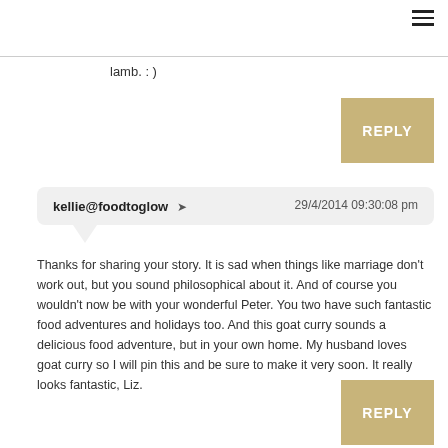lamb. : )
REPLY
kellie@foodtoglow ➜   29/4/2014 09:30:08 pm
Thanks for sharing your story. It is sad when things like marriage don't work out, but you sound philosophical about it. And of course you wouldn't now be with your wonderful Peter. You two have such fantastic food adventures and holidays too. And this goat curry sounds a delicious food adventure, but in your own home. My husband loves goat curry so I will pin this and be sure to make it very soon. It really looks fantastic, Liz.
REPLY